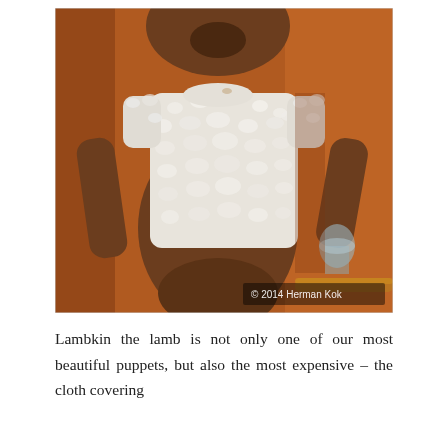[Figure (photo): A stuffed lamb puppet/toy wearing a white fluffy textured shirt or sweater, with brown fabric body and arms. The puppet is photographed against an orange/amber background. A copyright watermark reads '© 2014 Herman Kok' in the lower right corner of the image.]
Lambkin the lamb is not only one of our most beautiful puppets, but also the most expensive – the cloth covering